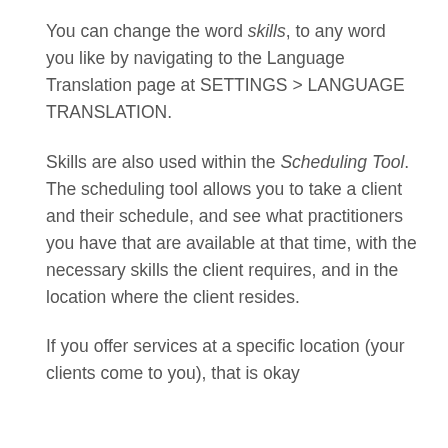You can change the word skills, to any word you like by navigating to the Language Translation page at SETTINGS > LANGUAGE TRANSLATION.
Skills are also used within the Scheduling Tool.  The scheduling tool allows you to take a client and their schedule, and see what practitioners you have that are available at that time, with the necessary skills the client requires, and in the location where the client resides.
If you offer services at a specific location (your clients come to you), that is okay